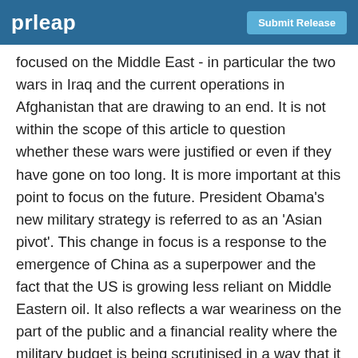prleap | Submit Release
focused on the Middle East - in particular the two wars in Iraq and the current operations in Afghanistan that are drawing to an end. It is not within the scope of this article to question whether these wars were justified or even if they have gone on too long. It is more important at this point to focus on the future. President Obama's new military strategy is referred to as an 'Asian pivot'. This change in focus is a response to the emergence of China as a superpower and the fact that the US is growing less reliant on Middle Eastern oil. It also reflects a war weariness on the part of the public and a financial reality where the military budget is being scrutinised in a way that it never has previously. The so–called 'Asian Pivot' must be viewed through an appropriate context if it is to be fully understood